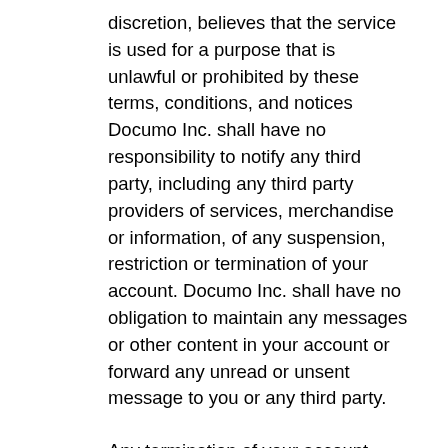discretion, believes that the service is used for a purpose that is unlawful or prohibited by these terms, conditions, and notices Documo Inc. shall have no responsibility to notify any third party, including any third party providers of services, merchandise or information, of any suspension, restriction or termination of your account. Documo Inc. shall have no obligation to maintain any messages or other content in your account or forward any unread or unsent message to you or any third party.
Any termination of your account shall not relieve you from any amounts owing or any other liability accruing under this Agreement prior to the time that such termination becomes effective.
If you have a signed “Pricing Proposal” the termination provision found in the Pricing Proposal applies.
Jurisdiction and Governing Law